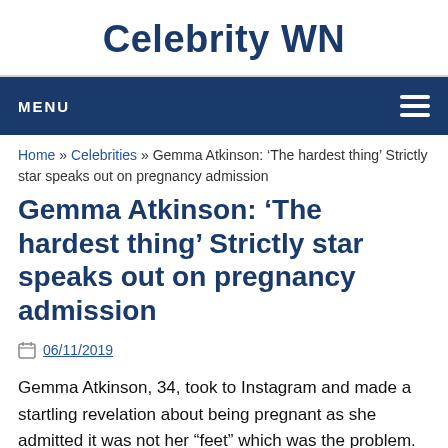Celebrity WN
MENU
Home » Celebrities » Gemma Atkinson: ‘The hardest thing’ Strictly star speaks out on pregnancy admission
Gemma Atkinson: ‘The hardest thing’ Strictly star speaks out on pregnancy admission
06/11/2019
Gemma Atkinson, 34, took to Instagram and made a startling revelation about being pregnant as she admitted it was not her “feet” which was the problem. The former Strictly Come Dancing star took to the picture